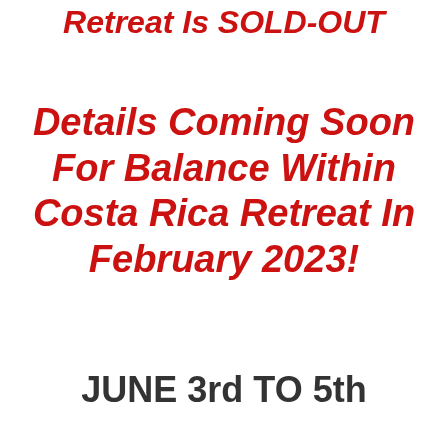Retreat Is SOLD-OUT
Details Coming Soon For Balance Within Costa Rica Retreat In February 2023!
JUNE 3rd TO 5th